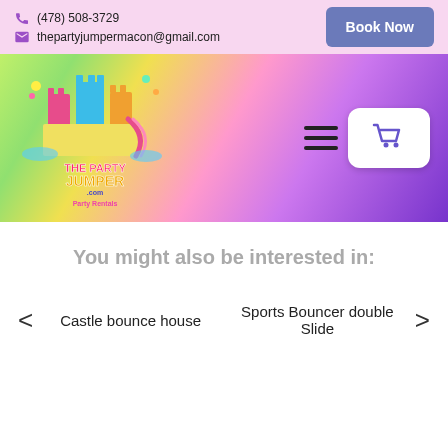(478) 508-3729 | thepartyjumpermacon@gmail.com | Book Now
[Figure (logo): The Party Jumper Party Rentals logo with colorful bounce castle illustration and navigation bar with hamburger menu and shopping cart button, on a rainbow gradient background]
You might also be interested in:
Castle bounce house   Sports Bouncer double Slide